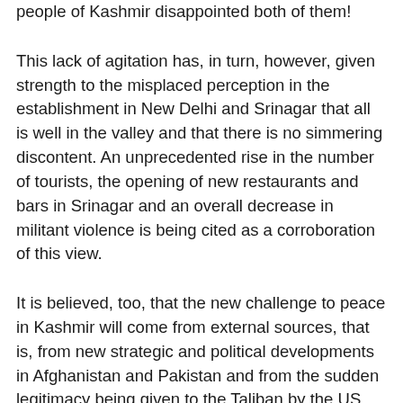people of Kashmir disappointed both of them!
This lack of agitation has, in turn, however, given strength to the misplaced perception in the establishment in New Delhi and Srinagar that all is well in the valley and that there is no simmering discontent. An unprecedented rise in the number of tourists, the opening of new restaurants and bars in Srinagar and an overall decrease in militant violence is being cited as a corroboration of this view.
It is believed, too, that the new challenge to peace in Kashmir will come from external sources, that is, from new strategic and political developments in Afghanistan and Pakistan and from the sudden legitimacy being given to the Taliban by the US after the inauguration of their office in Doha. Added to this is the perception of total control by the ISI-Pakistan military in Afghanistan after the